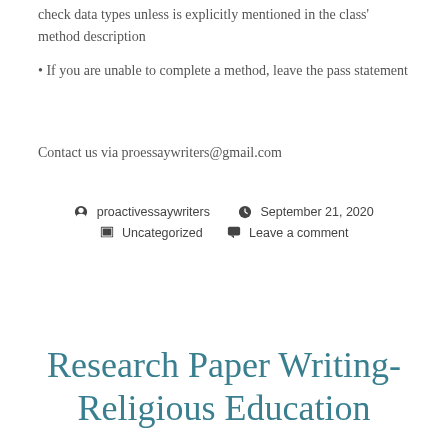check data types unless is explicitly mentioned in the class' method description
• If you are unable to complete a method, leave the pass statement
Contact us via proessaywriters@gmail.com
proactivessaywriters  September 21, 2020  Uncategorized  Leave a comment
Research Paper Writing- Religious Education